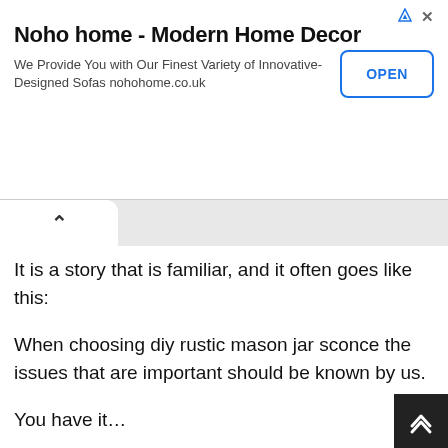[Figure (screenshot): Advertisement banner for Noho home - Modern Home Decor with OPEN button]
It is a story that is familiar, and it often goes like this:
When choosing diy rustic mason jar sconce the issues that are important should be known by us.
You have it…
…Our professional will explain to you how exactly to make it seem fabulous. Check it out.
I'm so content to be here once again revealing some beautiful diy rustic mason jar sconce ideas with all you. We are going to notice some a-Mazing pictures below